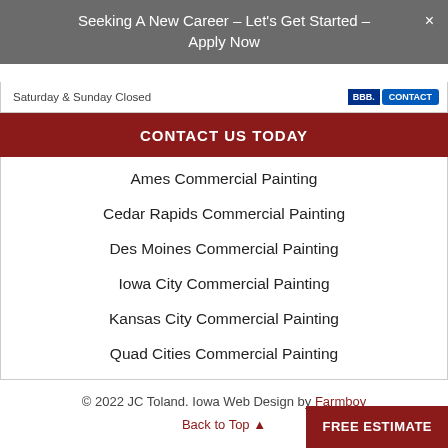Seeking A New Career – Let's Get Started – Apply Now
Saturday & Sunday Closed
CONTACT US TODAY
Ames Commercial Painting
Cedar Rapids Commercial Painting
Des Moines Commercial Painting
Iowa City Commercial Painting
Kansas City Commercial Painting
Quad Cities Commercial Painting
© 2022 JC Toland. Iowa Web Design by Farmboy
Back to Top ▲
FREE ESTIMATE